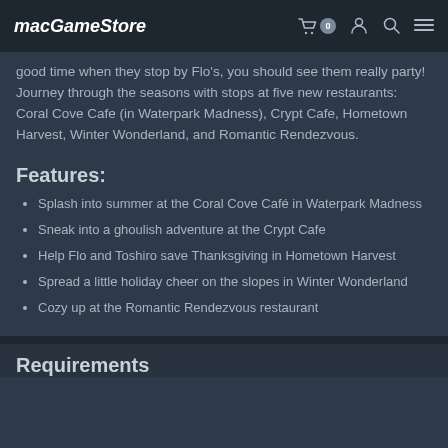MacGameStore
good time when they stop by Flo's, you should see them really party! Journey through the seasons with stops at five new restaurants: Coral Cove Cafe (in Waterpark Madness), Crypt Cafe, Hometown Harvest, Winter Wonderland, and Romantic Rendezvous.
Features:
Splash into summer at the Coral Cove Café in Waterpark Madness
Sneak into a ghoulish adventure at the Crypt Cafe
Help Flo and Toshiro save Thanksgiving in Hometown Harvest
Spread a little holiday cheer on the slopes in Winter Wonderland
Cozy up at the Romantic Rendezvous restaurant
Requirements